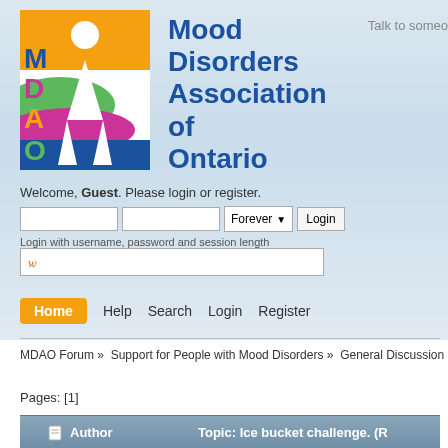[Figure (logo): Mood Disorders Association of Ontario logo with colorful abstract figure and MDAO text]
Talk to someo...
Welcome, Guest. Please login or register.
Login with username, password and session length
d (search input placeholder)
Home
Help
Search
Login
Register
MDAO Forum » Support for People with Mood Disorders » General Discussion » Ice buc...
Pages: [1]
| Author | Topic: Ice bucket challenge. (R... |
| --- | --- |